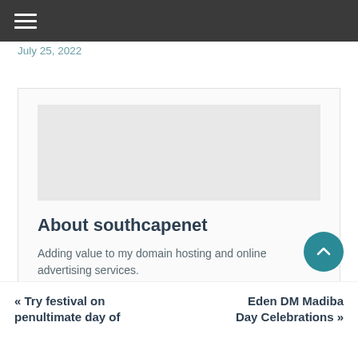July 25, 2022
About southcapenet
Adding value to my domain hosting and online advertising services.
View all posts by southcapenet →
« Try festival on penultimate day of
Eden DM Madiba Day Celebrations »